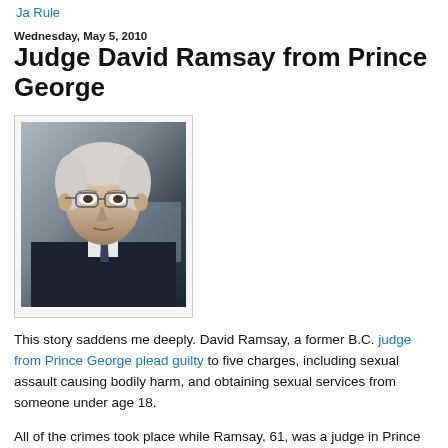Ja Rule
Wednesday, May 5, 2010
Judge David Ramsay from Prince George
[Figure (photo): Black and white photo of an elderly man with glasses and white hair wearing a dark suit]
This story saddens me deeply. David Ramsay, a former B.C. judge from Prince George plead guilty to five charges, including sexual assault causing bodily harm, and obtaining sexual services from someone under age 18.
All of the crimes took place while Ramsay, 61, was a judge in Prince George in the mid-1990s. Ramsay's victims were mostly aboriginal prostitutes who ranged in age from 12 to